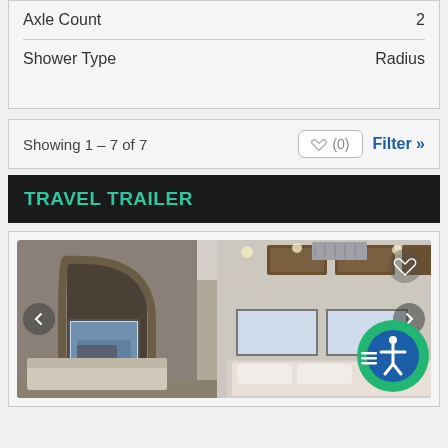| Spec | Value |
| --- | --- |
| Axle Count | 2 |
| Shower Type | Radius |
Showing 1 - 7 of 7
TRAVEL TRAILER
[Figure (photo): Interior photo of a travel trailer showing living area with curved archway, wood cabinets, recessed lighting in ceiling, white walls, windows with blinds, and bed area visible in background]